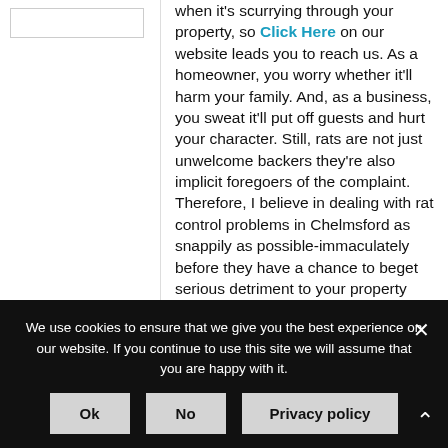[Figure (other): Left panel with a small rectangular box/image placeholder at top]
when it's scurrying through your property, so Click Here on our website leads you to reach us. As a homeowner, you worry whether it'll harm your family. And, as a business, you sweat it'll put off guests and hurt your character. Still, rats are not just unwelcome backers they're also implicit foregoers of the complaint. Therefore, I believe in dealing with rat control problems in Chelmsford as snappily as possible-immaculately before they have a chance to beget serious detriment to your property and health.
We use cookies to ensure that we give you the best experience on our website. If you continue to use this site we will assume that you are happy with it.